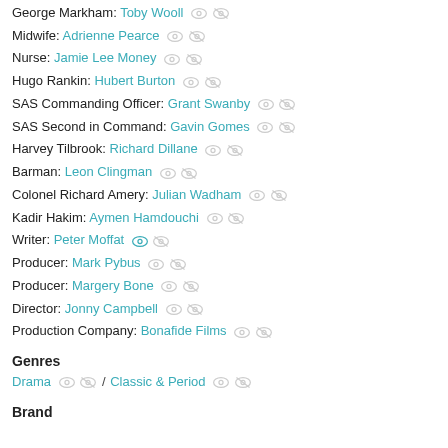George Markham: Toby Wooll
Midwife: Adrienne Pearce
Nurse: Jamie Lee Money
Hugo Rankin: Hubert Burton
SAS Commanding Officer: Grant Swanby
SAS Second in Command: Gavin Gomes
Harvey Tilbrook: Richard Dillane
Barman: Leon Clingman
Colonel Richard Amery: Julian Wadham
Kadir Hakim: Aymen Hamdouchi
Writer: Peter Moffat
Producer: Mark Pybus
Producer: Margery Bone
Director: Jonny Campbell
Production Company: Bonafide Films
Genres
Drama / Classic & Period
Brand